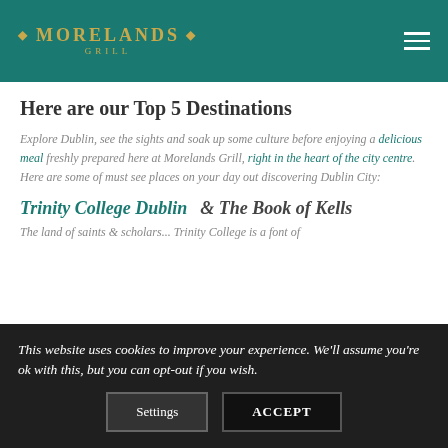◆ MORELANDS ◆ GRILL
Here are our Top 5 Destinations
Explore Dublin, see the sights and soak up some culture before enjoying a delicious meal freshly prepared here at Morelands Grill, right in the heart of the city centre. Here are some of must see places on your day out discovering Dublin City:
Trinity College Dublin  & The Book of Kells
The land of saints & scholars... Trinity College is a font of
This website uses cookies to improve your experience. We'll assume you're ok with this, but you can opt-out if you wish.
Settings   ACCEPT